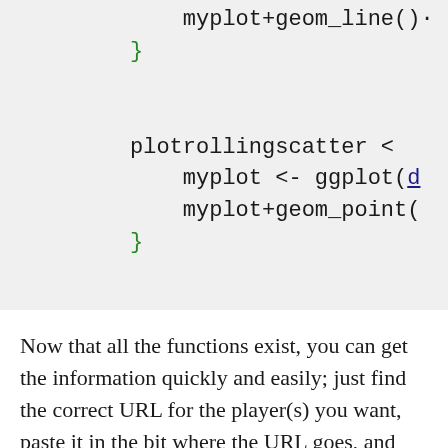myplot+geom_line()
}

plotrollingscatter <
    myplot <- ggplot(d
    myplot+geom_point(
}
Now that all the functions exist, you can get the information quickly and easily; just find the correct URL for the player(s) you want, paste it in the bit where the URL goes, and